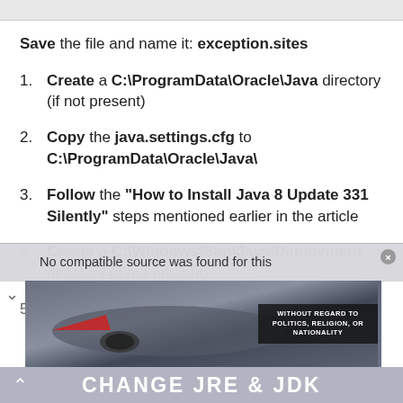Save the file and name it: exception.sites
Create a C:\ProgramData\Oracle\Java directory (if not present)
Copy the java.settings.cfg to C:\ProgramData\Oracle\Java\
Follow the “How to Install Java 8 Update 331 Silently” steps mentioned earlier in the article
Create a C:\Windows\Sun\Java\Deployment directory (if not present)
Copy the deployment.config
[Figure (screenshot): Advertisement overlay showing a Southwest Airlines plane with text 'WITHOUT REGARD TO POLITICS, RELIGION, OR NATIONALITY' and a popup saying 'No compatible source was found for this'. Bottom bar reads 'CHANGE JRE & JDK'.]